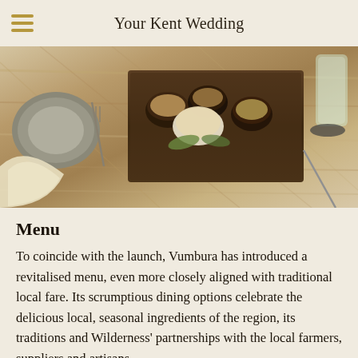Your Kent Wedding
[Figure (photo): Overhead view of a rustic wooden dining table with small bowls of food arranged on a wooden board, surrounded by place settings, napkins, and glassware.]
Menu
To coincide with the launch, Vumbura has introduced a revitalised menu, even more closely aligned with traditional local fare. Its scrumptious dining options celebrate the delicious local, seasonal ingredients of the region, its traditions and Wilderness' partnerships with the local farmers, suppliers and artisans.
Ingredients are purchased locally, thereby reducing